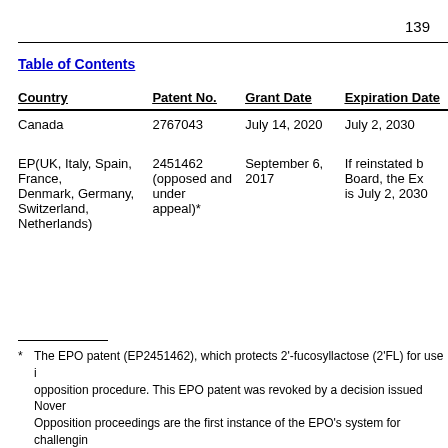139
| Country | Patent No. | Grant Date | Expiration Date |
| --- | --- | --- | --- |
| Canada | 2767043 | July 14, 2020 | July 2, 2030 |
| EP(UK, Italy, Spain, France, Denmark, Germany, Switzerland, Netherlands) | 2451462 (opposed and under appeal)* | September 6, 2017 | If reinstated by the Board, the Expiration Date is July 2, 2030 |
* The EPO patent (EP2451462), which protects 2'-fucosyllactose (2'FL) for use in an opposition procedure. This EPO patent was revoked by a decision issued November Opposition proceedings are the first instance of the EPO's system for challenging initiated on December 31, 2019 with the aim of overturning the revocation of the pending the outcome of the appeal. The Technical Board of Appeal who will he